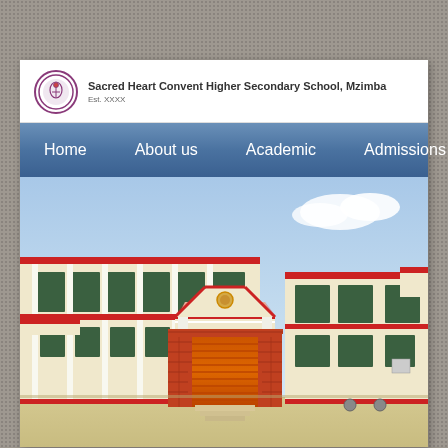Sacred Heart Convent Higher Secondary School, Mzimba
Est. XXXX
[Figure (screenshot): Navigation menu bar with blue gradient background showing: Home, About us, Academic, Admissions, Gallery]
[Figure (photo): Exterior photograph of Sacred Heart Convent Higher Secondary School building. A two-storey cream/beige building with red trim, green-tinted windows, white columns, and a distinctive red brick entrance gate/archway with orange roller shutters in the foreground center.]